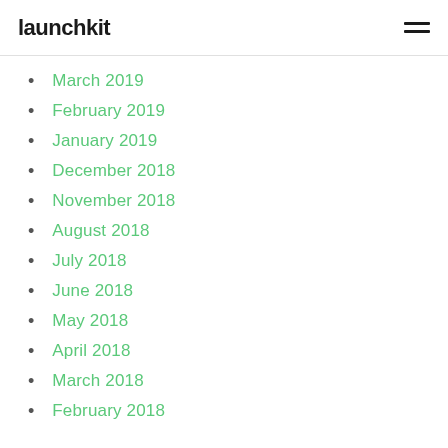launchkit
March 2019
February 2019
January 2019
December 2018
November 2018
August 2018
July 2018
June 2018
May 2018
April 2018
March 2018
February 2018